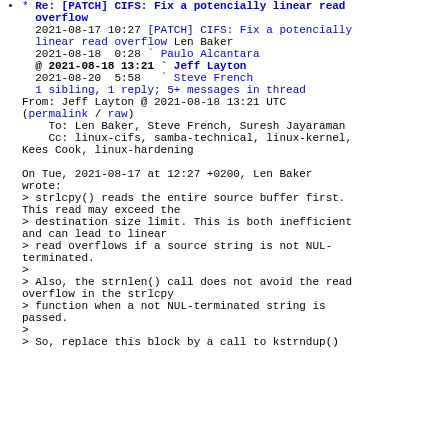* Re: [PATCH] CIFS: Fix a potencially linear read overflow
2021-08-17 10:27 [PATCH] CIFS: Fix a potencially linear read overflow Len Baker
2021-08-18  0:28 ` Paulo Alcantara
@ 2021-08-18 13:21 ` Jeff Layton
2021-08-20  5:58   ` Steve French
1 sibling, 1 reply; 5+ messages in thread
From: Jeff Layton @ 2021-08-18 13:21 UTC
(permalink / raw)
  To: Len Baker, Steve French, Suresh Jayaraman
  Cc: linux-cifs, samba-technical, linux-kernel, Kees Cook, linux-hardening

On Tue, 2021-08-17 at 12:27 +0200, Len Baker wrote:
> strlcpy() reads the entire source buffer first. This read may exceed the
> destination size limit. This is both inefficient and can lead to linear
> read overflows if a source string is not NUL-terminated.
>
> Also, the strnlen() call does not avoid the read overflow in the strlcpy
> function when a not NUL-terminated string is passed.
>
> So, replace this block by a call to kstrndup()